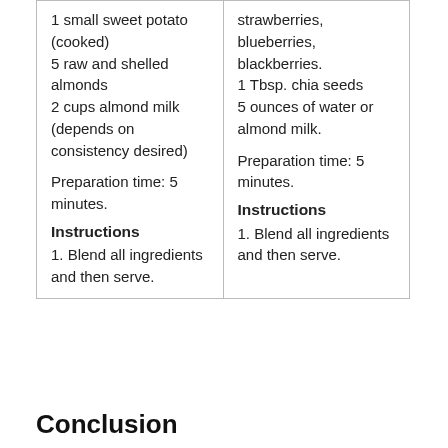1 small sweet potato (cooked)
5 raw and shelled almonds
2 cups almond milk (depends on consistency desired)

Preparation time: 5 minutes.
Instructions
1. Blend all ingredients and then serve.
strawberries, blueberries, blackberries.
1 Tbsp. chia seeds
5 ounces of water or almond milk.

Preparation time: 5 minutes.
Instructions
1. Blend all ingredients and then serve.
Conclusion